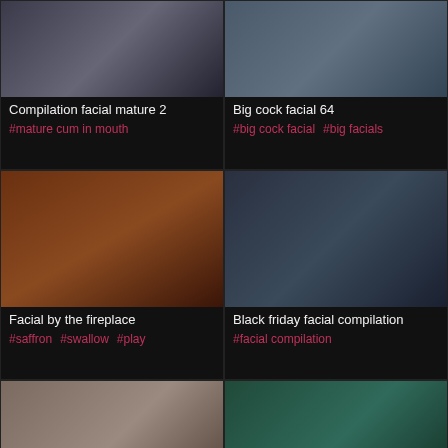[Figure (photo): Thumbnail image for video: Compilation facial mature 2]
Compilation facial mature 2
#mature cum in mouth
[Figure (photo): Thumbnail image for video: Big cock facial 64]
Big cock facial 64
#big cock facial  #big facials
[Figure (photo): Thumbnail image for video: Facial by the fireplace]
Facial by the fireplace
#saffron  #swallow  #play
[Figure (photo): Thumbnail image for video: Black friday facial compilation]
Black friday facial compilation
#facial compilation
[Figure (photo): Thumbnail image for video: Facial cumshot big tits]
Facial cumshot big tits
#big boobs  #tits big
[Figure (photo): Thumbnail image for video: Brazilian amateur fuck facial]
Brazilian amateur fuck facial
#brazilian fuck
[Figure (photo): Thumbnail image (partial) bottom-left]
[Figure (photo): Thumbnail image (partial) bottom-right]